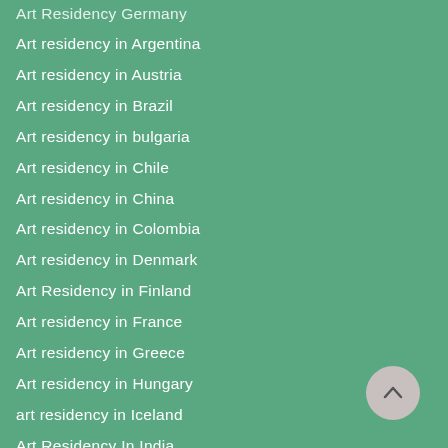Art Residency Germany
Art residency in Argentina
Art residency in Austria
Art residency in Brazil
Art residency in bulgaria
Art residency in Chile
Art residency in China
Art residency in Colombia
Art residency in Denmark
Art Residency in Finland
Art residency in France
Art residency in Greece
Art residency in Hungary
art residency in Iceland
Art Residency In India
Art residency in Iran
[Figure (other): Back to top button — circular grey button with upward chevron arrow]